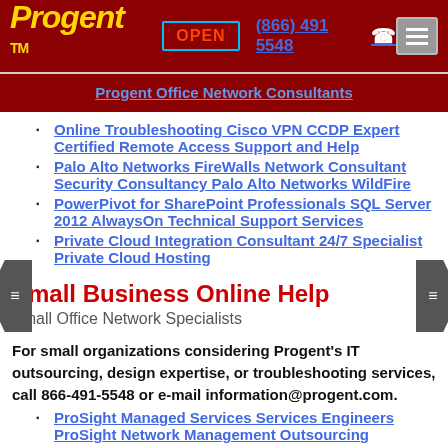Progent™  OPEN  (866) 491 5548  ☎
Progent Office Network Consultants
Online Troubleshooting Cisco VPN CCDP Expert Certified Remote Access Support and Help
Palo Alto Networks FireWalls Network Consultant Security Consultancy Palo Alto Networks WildFire
PowerPivot for SharePoint Professionals SQL Server 2012 AlwaysOn Technical Support Services
Private Cloud Integration Consultant 24/7 Specialist Private Cloud Hosting
Small Business Online Help
Small Office Network Specialists
For small organizations considering Progent's IT outsourcing, design expertise, or troubleshooting services, call 866-491-5548 or e-mail information@progent.com.
ProSight Managed Services Services Engineers ProSight Network Management Outsourcing